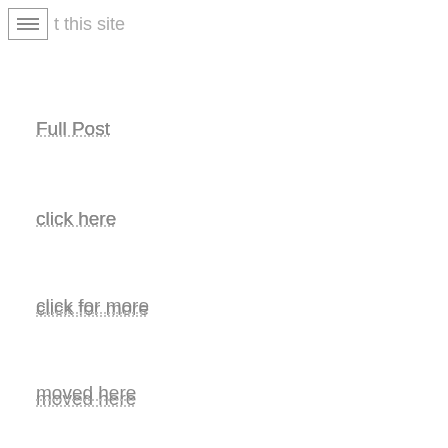Visit this site
Full Post
click here
click for more
moved here
click here for more
Read the Full Article
go now
mouse click the up coming post
sell